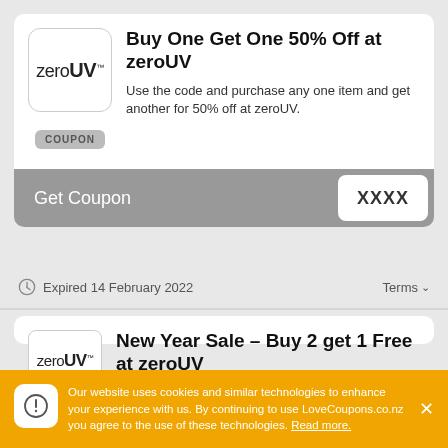[Figure (logo): zeroUV brand logo with bold UV text]
Buy One Get One 50% Off at zeroUV
Use the code and purchase any one item and get another for 50% off at zeroUV.
COUPON
Get Coupon  XXXX
Expired 14 February 2022
Terms
[Figure (logo): zeroUV brand logo]
New Year Sale - Buy 2 get 1 Free at zeroUV
Our website uses cookies and similar technologies to enhance your experience with us. By continuing to use LoveCoupons.co.nz you agree to the use of these technologies. Read more.